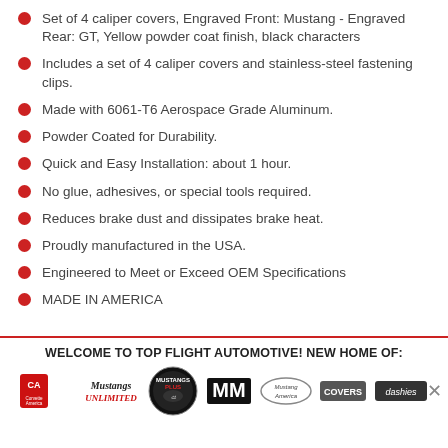Set of 4 caliper covers, Engraved Front: Mustang - Engraved Rear: GT, Yellow powder coat finish, black characters
Includes a set of 4 caliper covers and stainless-steel fastening clips.
Made with 6061-T6 Aerospace Grade Aluminum.
Powder Coated for Durability.
Quick and Easy Installation: about 1 hour.
No glue, adhesives, or special tools required.
Reduces brake dust and dissipates brake heat.
Proudly manufactured in the USA.
Engineered to Meet or Exceed OEM Specifications
MADE IN AMERICA
WELCOME TO TOP FLIGHT AUTOMOTIVE! NEW HOME OF:
[Figure (logo): Row of automotive brand logos: Corvette America, Mustang Unlimited, Mustangs Plus, Mr. Mustang (MM), Mustang America, Covers, Dashies]